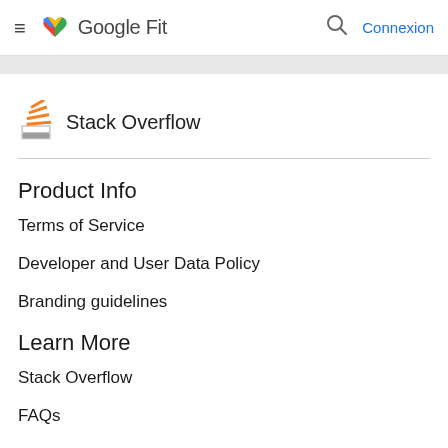Google Fit — Connexion
[Figure (logo): Stack Overflow logo with orange/yellow stacked lines icon]
Stack Overflow
Product Info
Terms of Service
Developer and User Data Policy
Branding guidelines
Learn More
Stack Overflow
FAQs
Developer Consoles